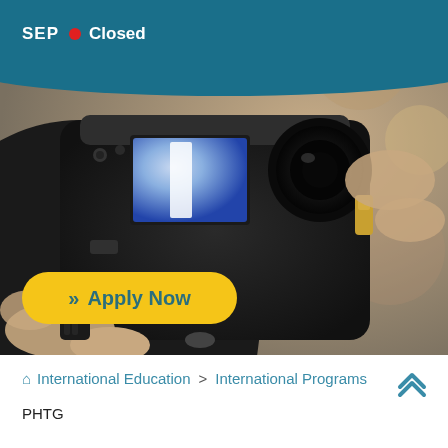SEP  •  Closed
[Figure (photo): Close-up photo of hands holding a professional DSLR camera, showing the camera body, LCD screen, viewfinder, and lens controls. Dark background with warm bokeh.]
Apply Now
International Education  >  International Programs  PHTG